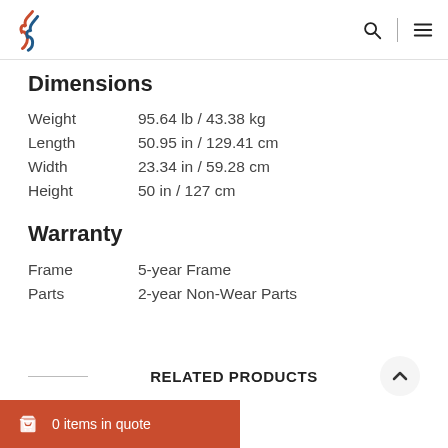Logo and navigation header
Dimensions
|  |  |
| --- | --- |
| Weight | 95.64 lb / 43.38 kg |
| Length | 50.95 in / 129.41 cm |
| Width | 23.34 in / 59.28 cm |
| Height | 50 in / 127 cm |
Warranty
|  |  |
| --- | --- |
| Frame | 5-year Frame |
| Parts | 2-year Non-Wear Parts |
RELATED PRODUCTS
0 items in quote